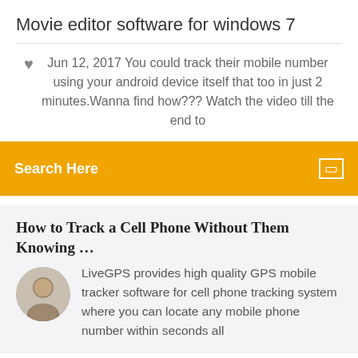Movie editor software for windows 7
Jun 12, 2017 You could track their mobile number using your android device itself that too in just 2 minutes.Wanna find how??? Watch the video till the end to
Search Here
How to Track a Cell Phone Without Them Knowing ...
LiveGPS provides high quality GPS mobile tracker software for cell phone tracking system where you can locate any mobile phone number within seconds all